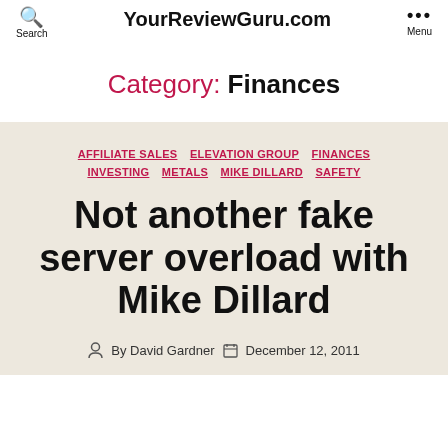YourReviewGuru.com
Category: Finances
AFFILIATE SALES  ELEVATION GROUP  FINANCES  INVESTING  METALS  MIKE DILLARD  SAFETY
Not another fake server overload with Mike Dillard
By David Gardner  December 12, 2011